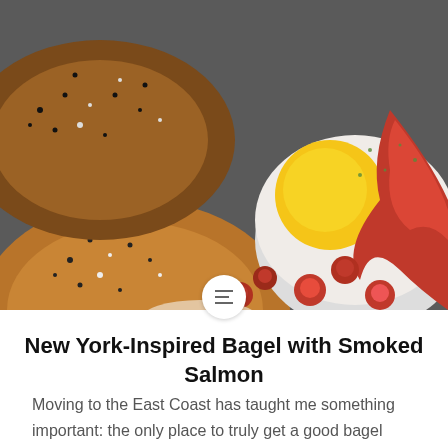[Figure (photo): Close-up overhead photo of everything bagels and an open-faced bagel topped with a fried egg, smoked salmon, and herbs, with scattered roasted cherry tomatoes on a gray plate]
New York-Inspired Bagel with Smoked Salmon
Moving to the East Coast has taught me something important: the only place to truly get a good bagel around here is in New York City